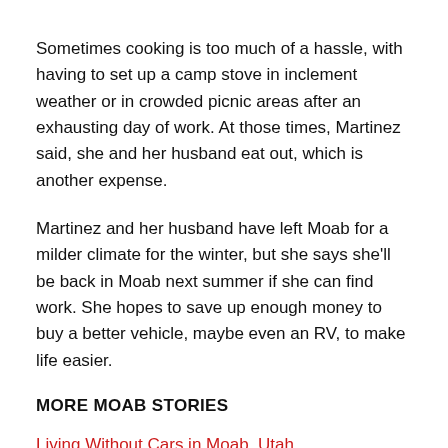Sometimes cooking is too much of a hassle, with having to set up a camp stove in inclement weather or in crowded picnic areas after an exhausting day of work. At those times, Martinez said, she and her husband eat out, which is another expense.
Martinez and her husband have left Moab for a milder climate for the winter, but she says she'll be back in Moab next summer if she can find work. She hopes to save up enough money to buy a better vehicle, maybe even an RV, to make life easier.
MORE MOAB STORIES
Living Without Cars in Moab, Utah